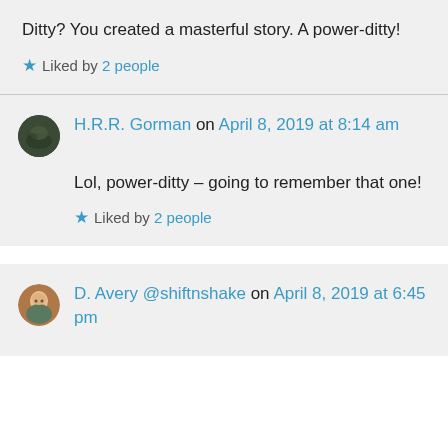Ditty? You created a masterful story. A power-ditty!
Liked by 2 people
H.R.R. Gorman on April 8, 2019 at 8:14 am
Lol, power-ditty – going to remember that one!
Liked by 2 people
D. Avery @shiftnshake on April 8, 2019 at 6:45 pm